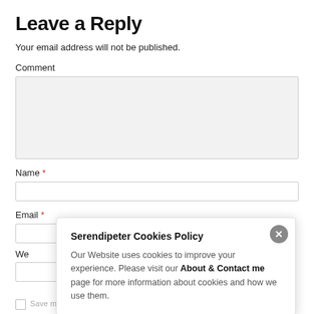Leave a Reply
Your email address will not be published.
Comment
Name *
Email *
We
[Figure (screenshot): Cookie policy popup with title 'Serendipeter Cookies Policy', close button (X), and text: 'Our Website uses cookies to improve your experience. Please visit our About & Contact me page for more information about cookies and how we use them.']
Save my name, email, and website in this browser for the